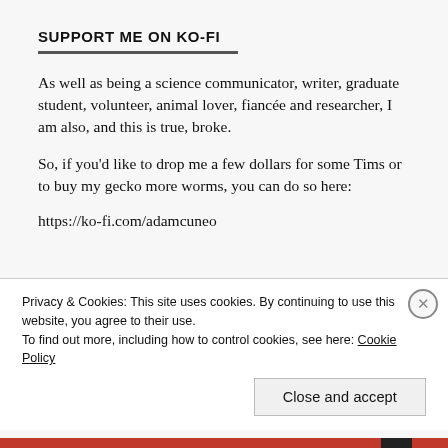SUPPORT ME ON KO-FI
As well as being a science communicator, writer, graduate student, volunteer, animal lover, fiancée and researcher, I am also, and this is true, broke.
So, if you'd like to drop me a few dollars for some Tims or to buy my gecko more worms, you can do so here:
https://ko-fi.com/adamcuneo
Privacy & Cookies: This site uses cookies. By continuing to use this website, you agree to their use.
To find out more, including how to control cookies, see here: Cookie Policy
Close and accept